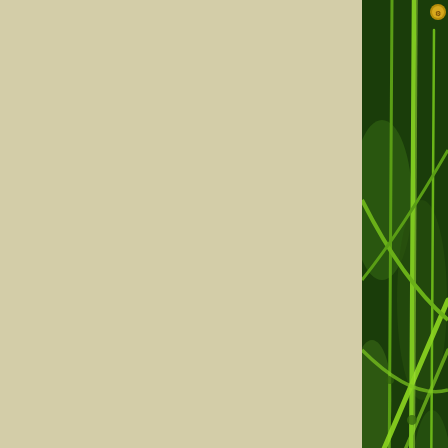[Figure (photo): Close-up photograph of slough sedge plant with tall green stems and leaves against a dark green background]
Slough sedge "… is sti...
[Figure (photo): Partial view of a second plant photograph at the bottom right of the page]